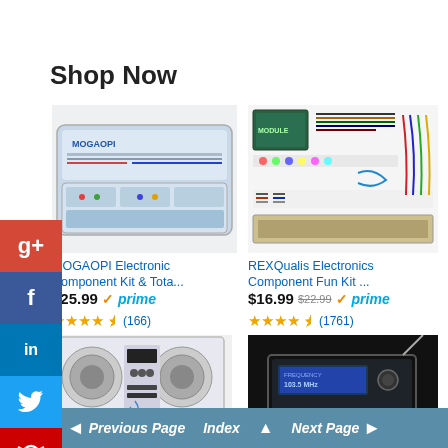Shop Now
[Figure (photo): MOGAOPI Electronic Component Kit in a plastic case with compartments]
[Figure (photo): REXQualis Electronics Component Fun Kit with resistors, LEDs, jumper wires, breadboard laid out]
MOGAOPI Electronic Component Kit & Tota...
$25.99 ✓prime
★★★★½ (166)
REXQualis Electronics Component Fun Kit ...
$16.99 $22.99 ✓prime
★★★★½ (1761)
[Figure (photo): Electronic kit assembled as a small radio/speaker with remote control]
[Figure (photo): Electronic kit assembled as a radio with LCD display and antenna, dark background]
◄ Previous Page  Index ▲  Next Page ►